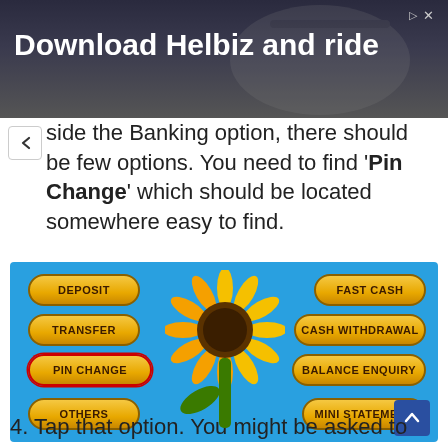[Figure (screenshot): Advertisement banner for Helbiz app showing 'Download Helbiz and ride' with a scooter image in the background]
side the Banking option, there should be few options. You need to find 'Pin Change' which should be located somewhere easy to find.
[Figure (screenshot): ATM banking menu interface with blue background and orange/yellow buttons showing options: DEPOSIT, FAST CASH, TRANSFER, CASH WITHDRAWAL, PIN CHANGE (highlighted with red border), BALANCE ENQUIRY, OTHERS, MINI STATEMENT, with a sunflower decoration in the center]
4. Tap that option. You might be asked to